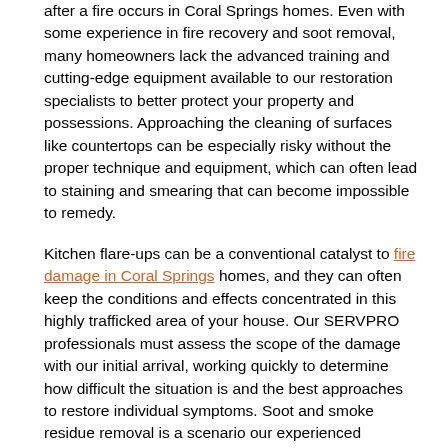after a fire occurs in Coral Springs homes. Even with some experience in fire recovery and soot removal, many homeowners lack the advanced training and cutting-edge equipment available to our restoration specialists to better protect your property and possessions. Approaching the cleaning of surfaces like countertops can be especially risky without the proper technique and equipment, which can often lead to staining and smearing that can become impossible to remedy.
Kitchen flare-ups can be a conventional catalyst to fire damage in Coral Springs homes, and they can often keep the conditions and effects concentrated in this highly trafficked area of your house. Our SERVPRO professionals must assess the scope of the damage with our initial arrival, working quickly to determine how difficult the situation is and the best approaches to restore individual symptoms. Soot and smoke residue removal is a scenario our experienced professionals get trained to handle. We arrive with a full array of cleaning products, tools, and machines to efficiently manage the situation.
We have several approaches for eliminating the presence of soot residues on countertops, which usually begins with